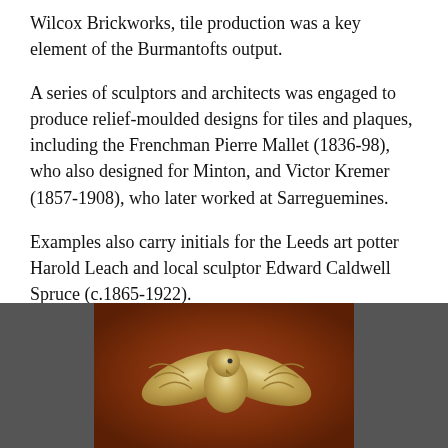Wilcox Brickworks, tile production was a key element of the Burmantofts output.
A series of sculptors and architects was engaged to produce relief-moulded designs for tiles and plaques, including the Frenchman Pierre Mallet (1836-98), who also designed for Minton, and Victor Kremer (1857-1908), who later worked at Sarreguemines.
Examples also carry initials for the Leeds art potter Harold Leach and local sculptor Edward Caldwell Spruce (c.1865-1922).
They formed the basis of the article published in 2016 by the Tiles and Architectural Ceramics Society, and many society members remain active in the market.
[Figure (photo): A decorative ceramic tile or plaque showing a relief-moulded bird (appears to be an eagle or similar bird with spread wings) in a golden/cream color against a rich reddish-brown background, displayed against a dark grey background.]